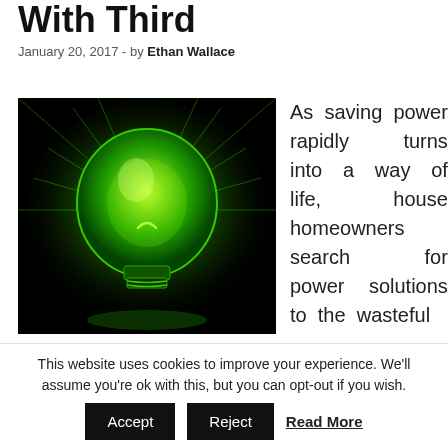With Third
January 20, 2017  -  by Ethan Wallace
[Figure (photo): Glowing green light bulb against a dark background, illustrating energy saving]
As saving power rapidly turns into a way of life, house homeowners search for power solutions to the wasteful
This website uses cookies to improve your experience. We'll assume you're ok with this, but you can opt-out if you wish.
Accept   Reject   Read More